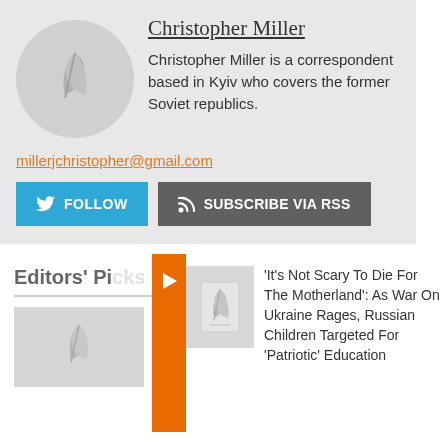Christopher Miller
Christopher Miller is a correspondent based in Kyiv who covers the former Soviet republics.
millerjchristopher@gmail.com
FOLLOW
SUBSCRIBE VIA RSS
Editors' Picks
'It's Not Scary To Die For The Motherland': As War On Ukraine Rages, Russian Children Targeted For 'Patriotic' Education